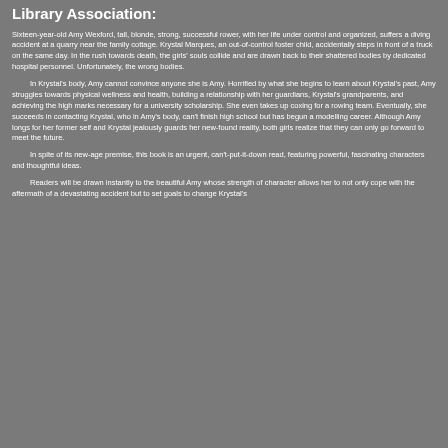Library Association:
Sixteen-year-old Amy Wexford, tall, blonde, strong, successful rower, with her life under control and organized, suffers a diving accident at a quarry near the family cottage. Krystal Marques, an out-of-control foster child, accidentally steps in front of a truck on the same day. In the rush towards death, the girls' souls collide and are drawn back to their shattered bodies by dedicated hospital personnel. Unfortunately, the wrong bodies.
In Krystal's body, Amy cannot convince anyone she is Amy. Horrified by what she begins to learn about Krystal's past, Amy struggles towards physical wellness and health, building a relationship with her guardians, Krystal's grandparents, and achieving the high marks necessary for a university scholarship. She even takes up coxing for a rowing team. Eventually, she succeeds in contacting Krystal, who in Amy's body, can't finish high school but has begun a modelling career. Although Amy longs for her former self and Krystal jealously guards her new-found reality, both girls realize that they can only go forward to meet the future.
In spite of its new-age premise, this book is an urgent, can't-put-it-down read, featuring powerful, fascinating characters and thoughtful ideas.
Readers will be drawn instantly to the beautiful Amy whose strength of character allows her to not only cope with the aftermath of a devastating accident but to set goals to change Krystal's